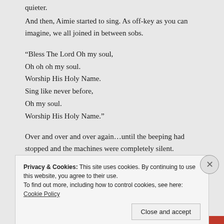quieter.
And then, Aimie started to sing. As off-key as you can imagine, we all joined in between sobs.
“Bless The Lord Oh my soul,
Oh oh oh my soul.
Worship His Holy Name.
Sing like never before,
Oh my soul.
Worship His Holy Name.”
Over and over and over again…until the beeping had stopped and the machines were completely silent. Nothing left to hear in the room, but 12 members of a broken family pouring their hearts out to their God, singing our mom, wife, grandma home. Singing like never before.
Privacy & Cookies: This site uses cookies. By continuing to use this website, you agree to their use.
To find out more, including how to control cookies, see here: Cookie Policy
Close and accept
Advertisements